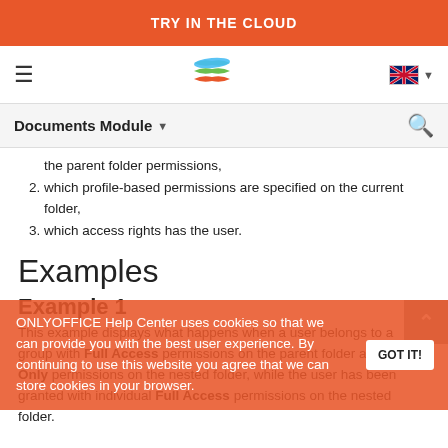TRY IN THE CLOUD
[Figure (logo): ONLYOFFICE stacked layers logo in blue, green, orange]
Documents Module
the parent folder permissions,
2. which profile-based permissions are specified on the current folder,
3. which access rights has the user.
Examples
Example 1
This example displays what happens when a user belongs to a group with Full Access permissions on the parent folder and Read Only permissions on the nested folder, while the user has been granted with individual Full Access permissions on the nested folder.
ONLYOFFICE Help Center uses cookies so that we can provide you with the best user experience. By continuing to use this website you agree that we can store cookies in your browser.